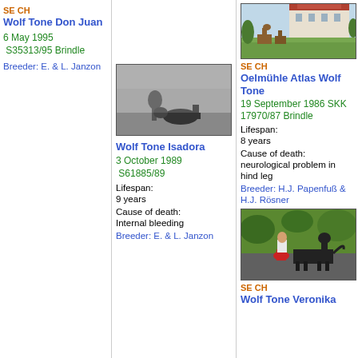SE CH
Wolf Tone Don Juan
6 May 1995
S35313/95 Brindle
Breeder: E. & L. Janzon
[Figure (photo): Two deer/dogs near a building with red roof in background]
SE CH
Oelmühle Atlas Wolf Tone
19 September 1986 SKK
17970/87 Brindle
Lifespan: 8 years
Cause of death: neurological problem in hind leg
Breeder: H.J. Papenfuß & H.J. Rösner
[Figure (photo): Black and white photo of child with dog outdoors]
Wolf Tone Isadora
3 October 1989
S61885/89
Lifespan: 9 years
Cause of death: Internal bleeding
Breeder: E. & L. Janzon
[Figure (photo): Woman kneeling with dark dog in garden]
SE CH
Wolf Tone Veronika